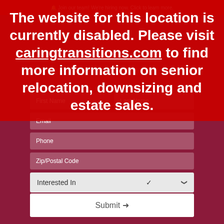Join our team! We're hiring now. Click to learn more.
The website for this location is currently disabled. Please visit caringtransitions.com to find more information on senior relocation, downsizing and estate sales.
[Figure (screenshot): Web contact form with fields: First Name, Last Name, Email, Phone, Zip/Postal Code, Interested In (dropdown), How did you hear about us? (dropdown), and Submit button]
Interested In
How did you hear about us?
Submit →